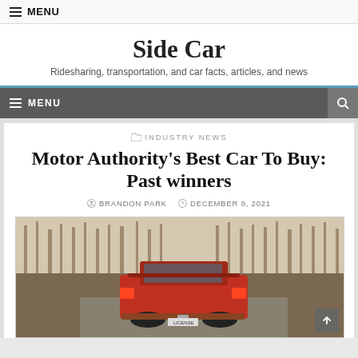≡ MENU
Side Car
Ridesharing, transportation, and car facts, articles, and news
≡ MENU
INDUSTRY NEWS
Motor Authority's Best Car To Buy: Past winners
BRANDON PARK   DECEMBER 8, 2021
[Figure (photo): Red sports car (convertible) photographed from the rear on a road surrounded by bare trees in autumn/winter.]